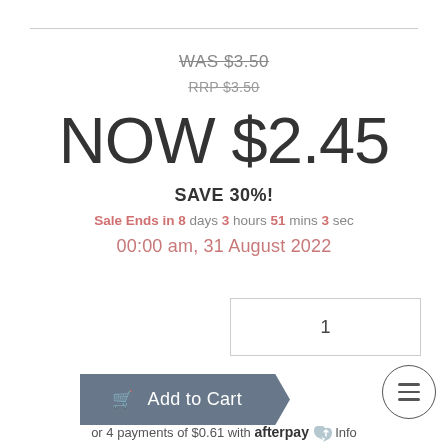WAS $3.50
RRP $3.50
NOW $2.45
SAVE 30%!
Sale Ends in 8 days 3 hours 51 mins 3 sec
00:00 am, 31 August 2022
1
Add to Cart
or 4 payments of $0.61 with afterpay Info